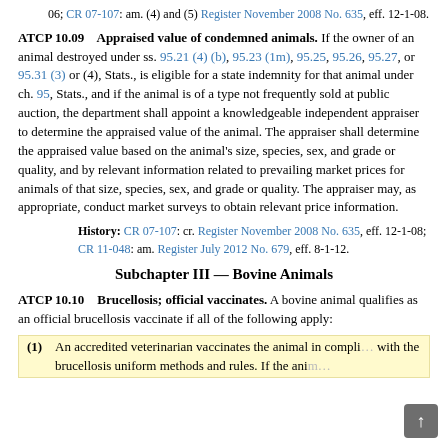06; CR 07-107: am. (4) and (5) Register November 2008 No. 635, eff. 12-1-08.
ATCP 10.09    Appraised value of condemned animals. If the owner of an animal destroyed under ss. 95.21 (4) (b), 95.23 (1m), 95.25, 95.26, 95.27, or 95.31 (3) or (4), Stats., is eligible for a state indemnity for that animal under ch. 95, Stats., and if the animal is of a type not frequently sold at public auction, the department shall appoint a knowledgeable independent appraiser to determine the appraised value of the animal. The appraiser shall determine the appraised value based on the animal's size, species, sex, and grade or quality, and by relevant information related to prevailing market prices for animals of that size, species, sex, and grade or quality. The appraiser may, as appropriate, conduct market surveys to obtain relevant price information.
History: CR 07-107: cr. Register November 2008 No. 635, eff. 12-1-08; CR 11-048: am. Register July 2012 No. 679, eff. 8-1-12.
Subchapter III — Bovine Animals
ATCP 10.10    Brucellosis; official vaccinates. A bovine animal qualifies as an official brucellosis vaccinate if all of the following apply:
(1)  An accredited veterinarian vaccinates the animal in compliance with the brucellosis uniform methods and rules. If the anim...